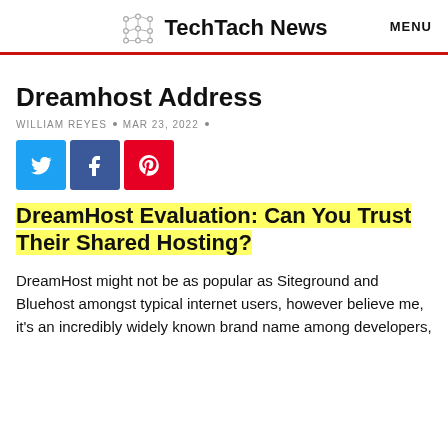TechTach News   MENU
Dreamhost Address
WILLIAM REYES • MAR 23, 2022 •
[Figure (other): Social share buttons: Twitter (blue), Facebook (dark blue), Pinterest (red)]
DreamHost Evaluation: Can You Trust Their Shared Hosting?
DreamHost might not be as popular as Siteground and Bluehost amongst typical internet users, however believe me, it's an incredibly widely known brand name among developers,